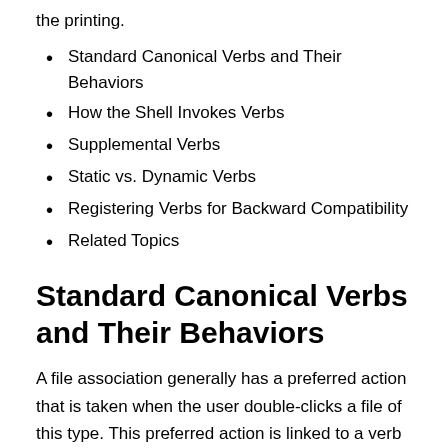the printing.
Standard Canonical Verbs and Their Behaviors
How the Shell Invokes Verbs
Supplemental Verbs
Static vs. Dynamic Verbs
Registering Verbs for Backward Compatibility
Related Topics
Standard Canonical Verbs and Their Behaviors
A file association generally has a preferred action that is taken when the user double-clicks a file of this type. This preferred action is linked to a verb referred to as the primary verb. The primary verb is specified by the default value of the shell key, or the open key if the shell key has no default value. The most common primary verb is open.